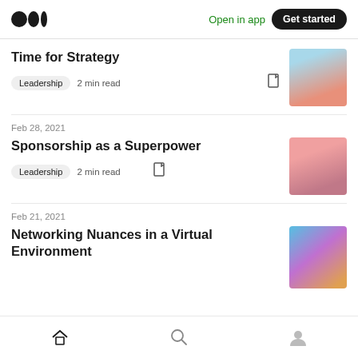Medium logo | Open in app | Get started
Time for Strategy
Leadership  2 min read
Feb 28, 2021
Sponsorship as a Superpower
Leadership  2 min read
Feb 21, 2021
Networking Nuances in a Virtual Environment
Home | Search | Profile